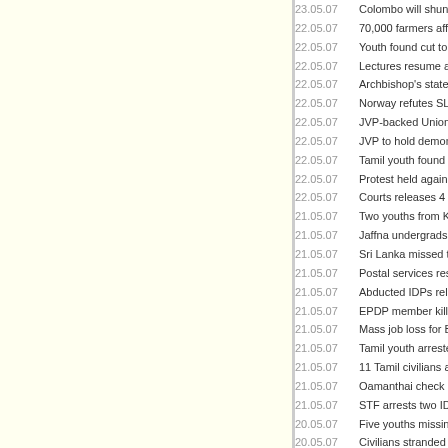23.05.07 Colombo will shun peace, until LTTE demonstrates f..
22.05.07 70,000 farmers affected in Paduvaankarai
22.05.07 Youth found cut to death in Chunnaakam
22.05.07 Lectures resume at Jaffna University
22.05.07 Archbishop's statement an observation, not endorse..
22.05.07 Norway refutes SL Diplomat's passport allegation a..
22.05.07 JVP-backed Union to organize general strike in Jun..
22.05.07 JVP to hold demonstration against corruption in pu..
22.05.07 Tamil youth found dead in Kandy
22.05.07 Protest held against disappearance of Norwegian Ta..
22.05.07 Courts releases 4 fishermen arrested in Neduntheev..
21.05.07 Two youths from Karaveddi reported missing
21.05.07 Jaffna undergrads temporarily suspend boycott
21.05.07 Sri Lanka missed the richness of plurality – Amart..
21.05.07 Postal services resume in Vellaaveli, Schools re-o..
21.05.07 Abducted IDPs released in Batticaloa
21.05.07 EPDP member killed in Kayts
21.05.07 Mass job loss for Batticaloa cellular employees
21.05.07 Tamil youth arrested in Colombo
21.05.07 11 Tamil civilians arrested in Galle
21.05.07 Oamanthai check point to be re-opened Monday
21.05.07 STF arrests two IDPs from Batticaloa
20.05.07 Five youths missing in Mannar seas
20.05.07 Civilians stranded at Oamanthai
20.05.07 Mother files HC application for daughter held 8 mo..
20.05.07 Court asks AG to appear on Fundamental Rights peti
20.05.07 Balance of power, imperative to work towards susta..